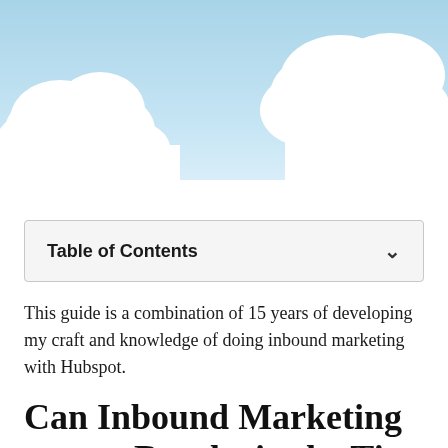[Figure (illustration): Blue sky background with white fluffy clouds at the top of the page]
Table of Contents
This guide is a combination of 15 years of developing my craft and knowledge of doing inbound marketing with Hubspot.
Can Inbound Marketing get me Results in the Ti...